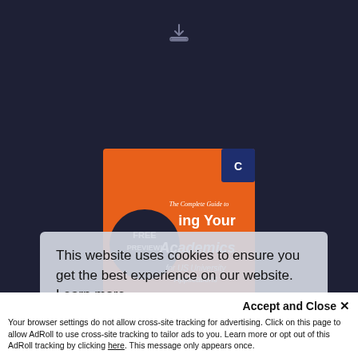[Figure (screenshot): Dark navy background with a download icon at top center and a book cover partially visible — orange cover titled 'The Complete Guide to [Improving] Your Academics for US University Applications' with a 'FREE PREVIEW!' badge, partially obscured by overlapping cookie consent banners.]
This website uses cookies to ensure you get the best experience on our website.  Learn more
Accept and Close ✕
Your browser settings do not allow cross-site tracking for advertising. Click on this page to allow AdRoll to use cross-site tracking to tailor ads to you. Learn more or opt out of this AdRoll tracking by clicking here. This message only appears once.